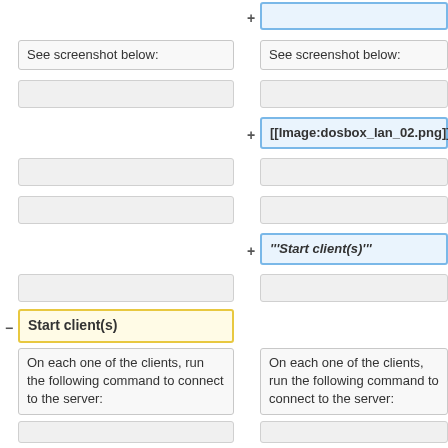See screenshot below:
See screenshot below:
[[Image:dosbox_lan_02.png]]
'''Start client(s)'''
Start client(s)
On each one of the clients, run the following command to connect to the server:
On each one of the clients, run the following command to connect to the server:
ipxnet connect IP
ipxnet connect <IP >